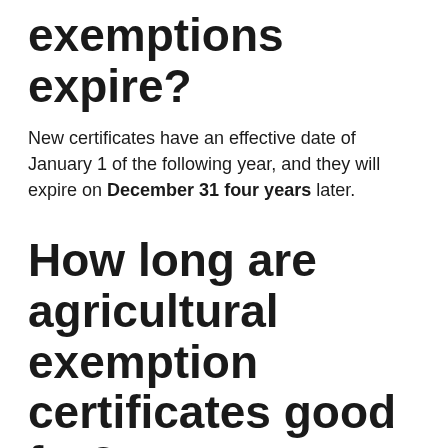exemptions expire?
New certificates have an effective date of January 1 of the following year, and they will expire on December 31 four years later.
How long are agricultural exemption certificates good for?
The certificates are good for a four-year period. Once the Department reissues the